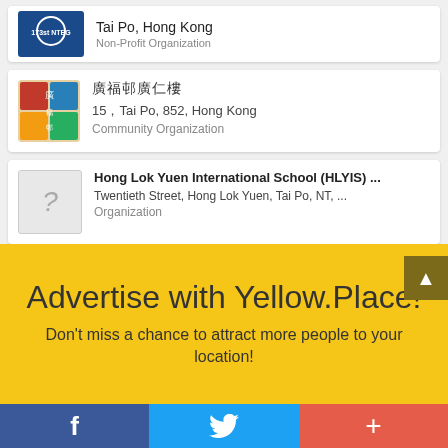Tai Po, Hong Kong / Non-Profit Organization
廣福邨廣仁樓 / 15，Tai Po, 852, Hong Kong / Community Organization
Hong Lok Yuen International School (HLYIS) ... / Twentieth Street, Hong Lok Yuen, Tai Po, NT, ... / Organization
Advertise with Yellow.Place!
Don't miss a chance to attract more people to your location!